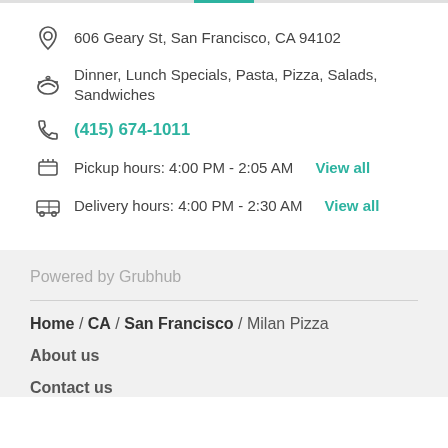606 Geary St, San Francisco, CA 94102
Dinner, Lunch Specials, Pasta, Pizza, Salads, Sandwiches
(415) 674-1011
Pickup hours: 4:00 PM - 2:05 AM  View all
Delivery hours: 4:00 PM - 2:30 AM  View all
Powered by Grubhub
Home / CA / San Francisco / Milan Pizza
About us
Contact us